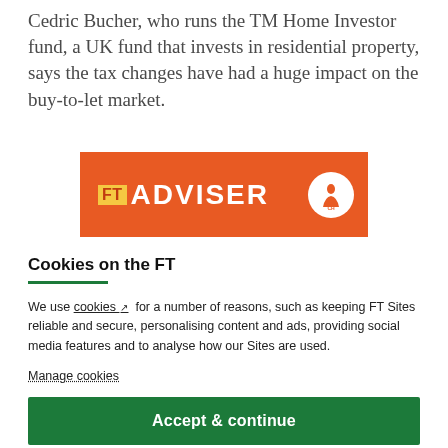Cedric Bucher, who runs the TM Home Investor fund, a UK fund that invests in residential property, says the tax changes have had a huge impact on the buy-to-let market.
[Figure (logo): FT Adviser logo on orange background with a circular icon on the right]
Cookies on the FT
We use cookies ↗ for a number of reasons, such as keeping FT Sites reliable and secure, personalising content and ads, providing social media features and to analyse how our Sites are used.
Manage cookies
Accept & continue